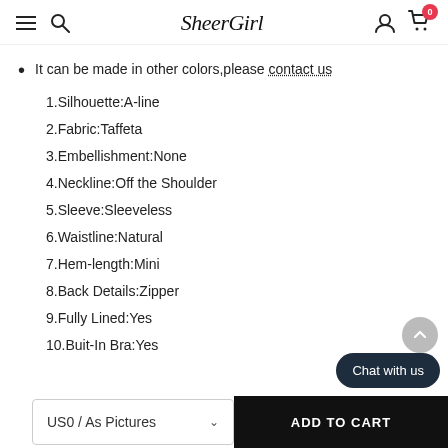SheerGirl
It can be made in other colors,please contact us
1.Silhouette:A-line
2.Fabric:Taffeta
3.Embellishment:None
4.Neckline:Off the Shoulder
5.Sleeve:Sleeveless
6.Waistline:Natural
7.Hem-length:Mini
8.Back Details:Zipper
9.Fully Lined:Yes
10.Buit-In Bra:Yes